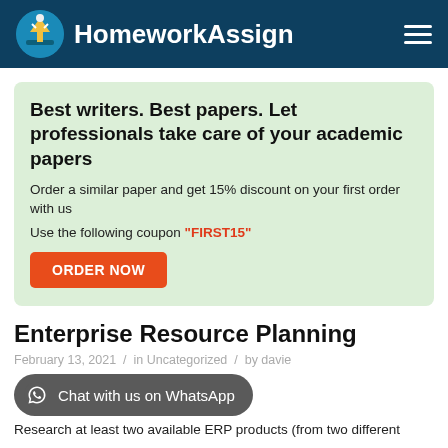HomeworkAssign
Best writers. Best papers. Let professionals take care of your academic papers
Order a similar paper and get 15% discount on your first order with us
Use the following coupon "FIRST15"
ORDER NOW
Enterprise Resource Planning
February 13, 2021  /  in Uncategorized  /  by davie
Chat with us on WhatsApp
Research at least two available ERP products (from two different